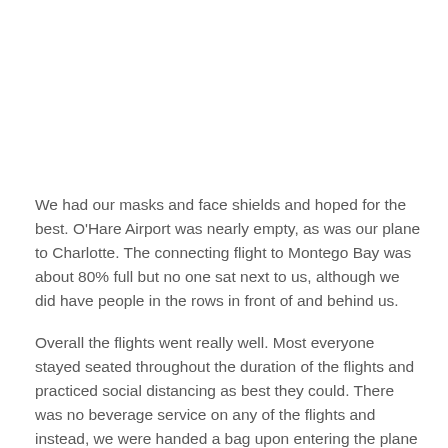We had our masks and face shields and hoped for the best. O'Hare Airport was nearly empty, as was our plane to Charlotte. The connecting flight to Montego Bay was about 80% full but no one sat next to us, although we did have people in the rows in front of and behind us.
Overall the flights went really well. Most everyone stayed seated throughout the duration of the flights and practiced social distancing as best they could. There was no beverage service on any of the flights and instead, we were handed a bag upon entering the plane with a bottle